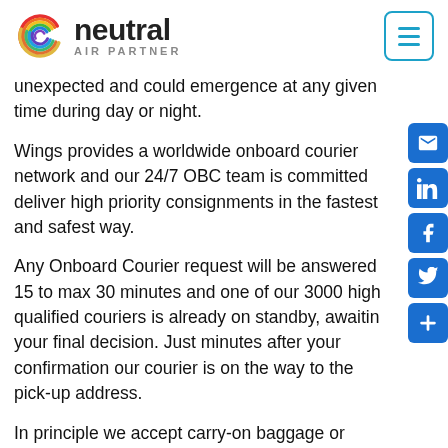neutral AIR PARTNER
unexpected and could emergence at any given time during day or night.
Wings provides a worldwide onboard courier network and our 24/7 OBC team is committed deliver high priority consignments in the fastest and safest way.
Any Onboard Courier request will be answered 15 to max 30 minutes and one of our 3000 high qualified couriers is already on standby, awaiting your final decision. Just minutes after your confirmation our courier is on the way to the pick-up address.
In principle we accept carry-on baggage or